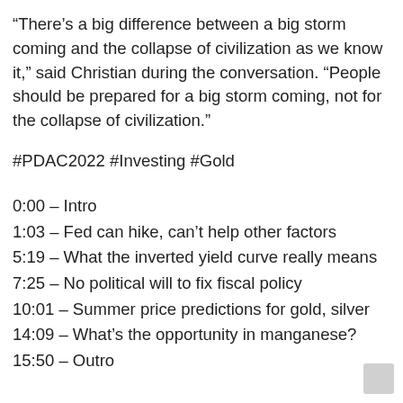“There’s a big difference between a big storm coming and the collapse of civilization as we know it,” said Christian during the conversation. “People should be prepared for a big storm coming, not for the collapse of civilization.”
#PDAC2022 #Investing #Gold
0:00 – Intro
1:03 – Fed can hike, can’t help other factors
5:19 – What the inverted yield curve really means
7:25 – No political will to fix fiscal policy
10:01 – Summer price predictions for gold, silver
14:09 – What’s the opportunity in manganese?
15:50 – Outro